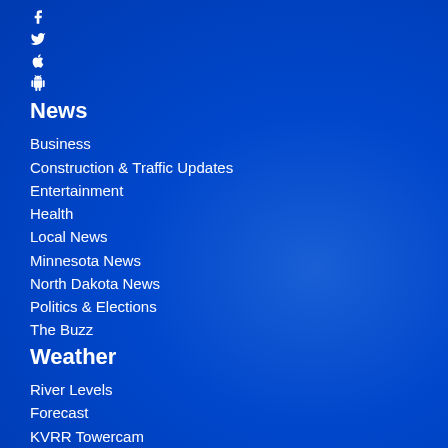Facebook icon
Twitter icon
Apple icon
Android icon
News
Business
Construction & Traffic Updates
Entertainment
Health
Local News
Minnesota News
North Dakota News
Politics & Elections
The Buzz
Weather
River Levels
Forecast
KVRR Towercam
Long Range Forecast
Pet Connection
River Levels
Severe Weather Alerts
Cancellations
Weather Notes
Station